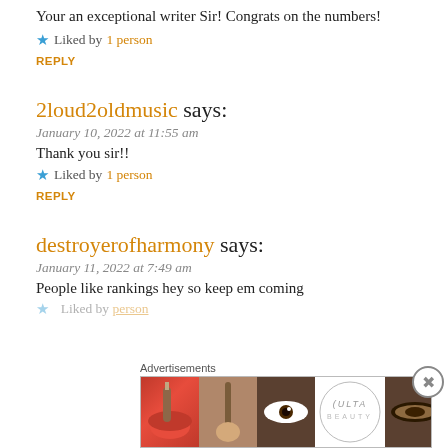Your an exceptional writer Sir! Congrats on the numbers!
★ Liked by 1 person
REPLY
2loud2oldmusic says:
January 10, 2022 at 11:55 am
Thank you sir!!
★ Liked by 1 person
REPLY
destroyerofharmony says:
January 11, 2022 at 7:49 am
People like rankings hey so keep em coming
★ Liked by person
[Figure (screenshot): Ulta Beauty advertisement banner with cosmetic imagery and SHOP NOW call to action]